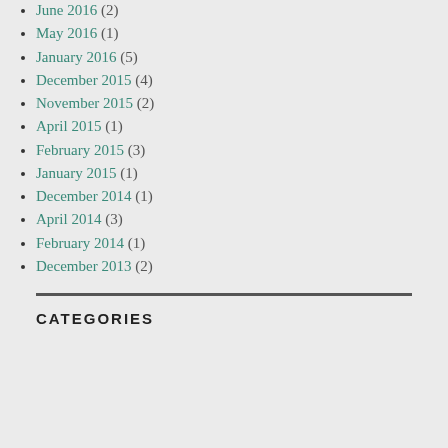June 2016 (2)
May 2016 (1)
January 2016 (5)
December 2015 (4)
November 2015 (2)
April 2015 (1)
February 2015 (3)
January 2015 (1)
December 2014 (1)
April 2014 (3)
February 2014 (1)
December 2013 (2)
CATEGORIES